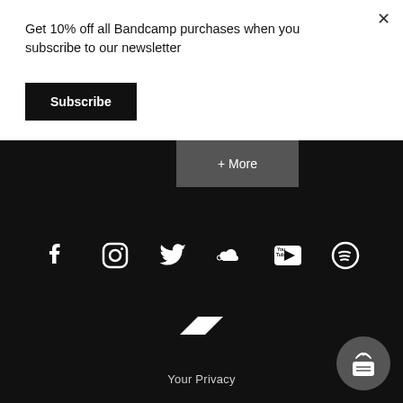Get 10% off all Bandcamp purchases when you subscribe to our newsletter
Subscribe
+ More
[Figure (infographic): Social media icons row: Facebook, Instagram, Twitter, SoundCloud, YouTube, Spotify]
[Figure (logo): Bandcamp logo slash icon]
Your Privacy
[Figure (infographic): Chat widget button with radio/signal icon in bottom right corner]